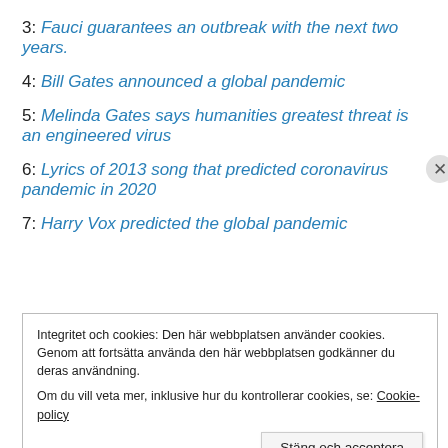3: Fauci guarantees an outbreak with the next two years.
4: Bill Gates announced a global pandemic
5: Melinda Gates says humanities greatest threat is an engineered virus
6: Lyrics of 2013 song that predicted coronavirus pandemic in 2020
7: Harry Vox predicted the global pandemic
Integritet och cookies: Den här webbplatsen använder cookies. Genom att fortsätta använda den här webbplatsen godkänner du deras användning.
Om du vill veta mer, inklusive hur du kontrollerar cookies, se: Cookie-policy
Stäng och acceptera